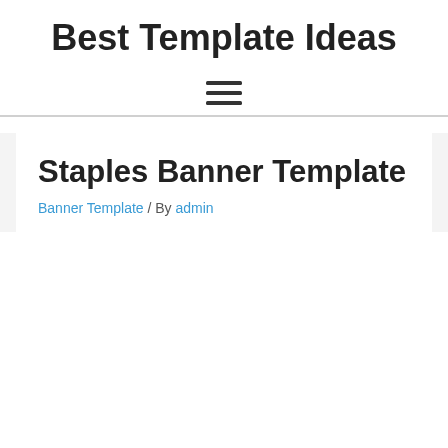Best Template Ideas
[Figure (other): Hamburger menu toggle icon with three horizontal lines]
Staples Banner Template
Banner Template / By admin